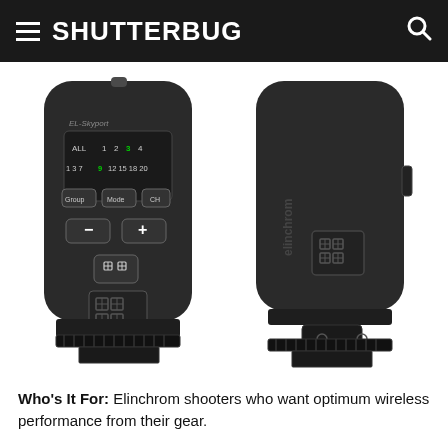SHUTTERBUG
[Figure (photo): Two views of an Elinchrom EL-Skyport wireless transmitter device — front view showing display with ALL 1 2 3 4 channels, 1 3 7 9 12 15 18 20 buttons, Group/Mode/CH buttons, minus and plus buttons, and grid icon button; back view showing elinchrom branding with grid logo, plus hot shoe mount at bottom.]
Who's It For: Elinchrom shooters who want optimum wireless performance from their gear.